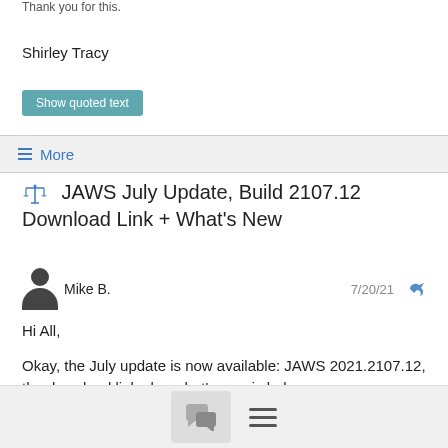Thank you for this.
Shirley Tracy
Show quoted text
≡ More
JAWS July Update, Build 2107.12 Download Link + What's New
Mike B.  7/20/21
Hi All,
Okay, the July update is now available: JAWS 2021.2107.12, the download link plus what's new is below.